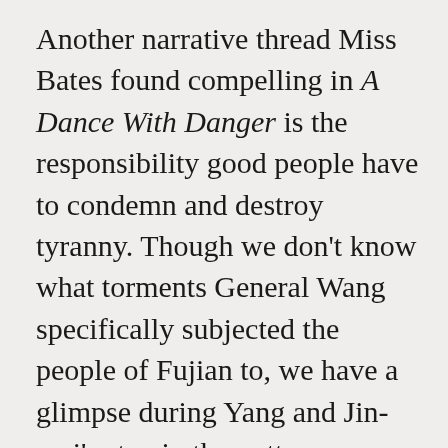Another narrative thread Miss Bates found compelling in A Dance With Danger is the responsibility good people have to condemn and destroy tyranny. Though we don't know what torments General Wang specifically subjected the people of Fujian to, we have a glimpse during Yang and Jin-mei's stay in the pottery-making village of Lintai. Lintai is not idyllic, but it is a good place, with hard-working, generous-hearted, and peaceful people. The townspeople gather stone, make clay, and create pottery, which is then painted